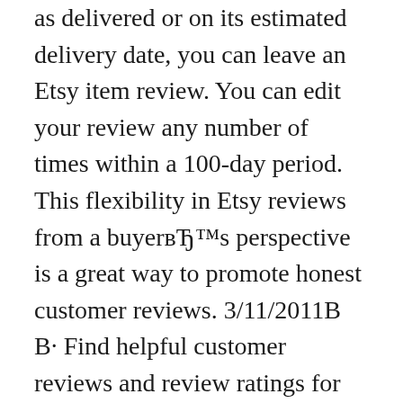as delivered or on its estimated delivery date, you can leave an Etsy item review. You can edit your review any number of times within a 100-day period. This flexibility in Etsy reviews from a buyer’s perspective is a great way to promote honest customer reviews. 3/11/2011· Find helpful customer reviews and review ratings for How to Make Money Using Etsy: A Guide to the Online Marketplace for Crafts and Handmade Products at Amazon.com. Read honest and unbiased product reviews from our users.
8/29/2015· I would still leave a review. An honest review, I feel, can only help. Ex: I just bought a dog harness of etsy, its a great harness but not what I'm looking for, so I wanted to